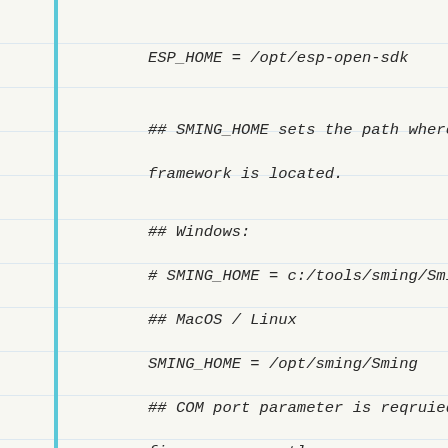ESP_HOME = /opt/esp-open-sdk
## SMING_HOME sets the path where Sming framework is located.
## Windows:
# SMING_HOME = c:/tools/sming/Sming
## MacOS / Linux
SMING_HOME = /opt/sming/Sming
## COM port parameter is reqruied to flash firmware correctly.
## Windows: